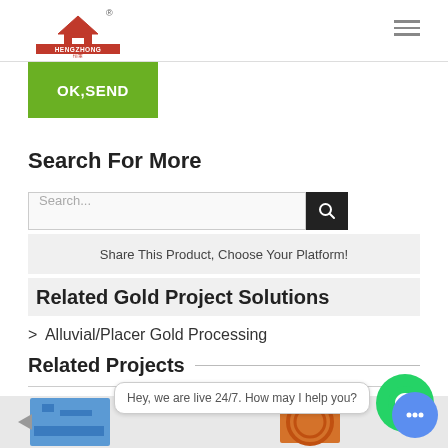[Figure (logo): HengZhong company logo with red house icon and Chinese characters, registered trademark symbol]
OK,SEND
Search For More
Search...
Share This Product, Choose Your Platform!
Related Gold Project Solutions
> Alluvial/Placer Gold Processing
Related Projects
[Figure (photo): Thumbnail strip showing industrial gold processing equipment]
Hey, we are live 24/7. How may I help you?